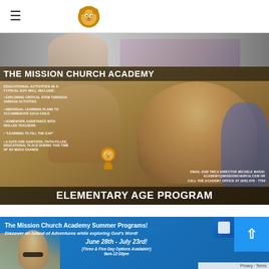☰ [Mission Church Lion Logo]
[Figure (photo): Partial view of a person in a patterned top — top banner image cropped]
[Figure (infographic): The Mission Church Academy Elementary Age Program flyer. Shows children studying in a classroom. Lists educational activities: Exploring Critical STEM Through Various Activities, Individual Learning Plans to Accommodate Each Child, Homework Assistance with Skilled Teachers, 'Learning to Fill the Gap', A Safe and Sanitized Faith-Filled Educational Place During This Time of So Much Change. Contact: EMAIL OUR TMCA DIRECTOR MICHELE MASSI: ACADEMY@MISSIONCHURCH.COM OR CALL THE ACADEMY OFFICE AT (845) 878-7750]
[Figure (infographic): The Mission Church Academy Summer Programs banner. Text: 'The Mission Church Academy Summer Programs! Discover an Island of Adventures while exploring God's Word! June 28th – July 23rd! (Three & Five Day Options Available!) 9am-12:00pm']